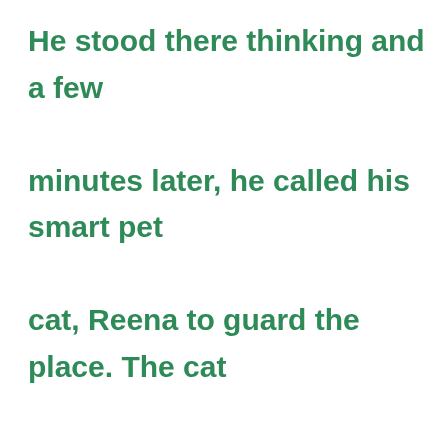He stood there thinking and a few minutes later, he called his smart pet cat, Reena to guard the place. The cat sat down, licking its paw and looked around him.

Reen ran upstairs to tell his father about what had just happened.